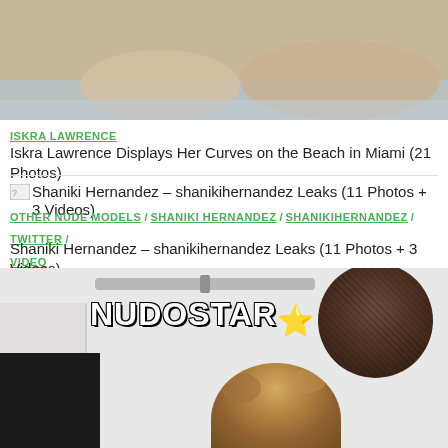[Figure (photo): Cropped beach photo showing people near water]
ISKRA LAWRENCE
Iskra Lawrence Displays Her Curves on the Beach in Miami (21 Photos)
[Figure (photo): Broken image icon placeholder for Shaniki Hernandez article]
OTHER NUDE MODELS / SHANIKI HERNANDEZ / SHANIKIHERNANDEZ / TWITTER / VIDEO
Shaniki Hernandez – shanikihernandez Leaks (11 Photos + 3 Videos)
[Figure (photo): Indoor photo with NUDOSTAR watermark overlay, lamp shade, roller blind, and person with blonde updo hair]